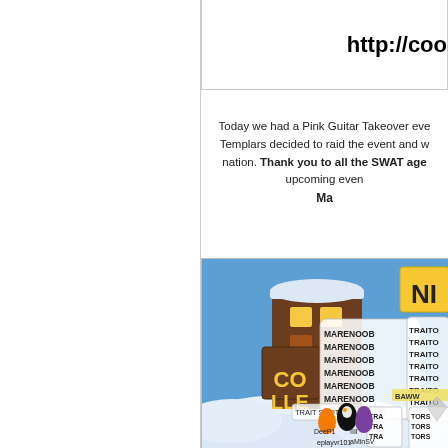[Figure (screenshot): Partial URL shown: http://coo... in bold large font inside a bordered box]
Today we had a Pink Guitar Takeover eve... Templars decided to raid the event and w... nation. Thank you to all the SWAT age... upcoming even... Ma...
[Figure (screenshot): Club Penguin game screenshot showing penguins with chat bubbles containing 'MARENOOB' repeated multiple times and 'TRAITORS' repeated multiple times, in a snowy scene near a building labeled 'COLLE...' with 'NI...' sign. Player names visible: eplayvr101, DeeP1, aMinSW, IIII]